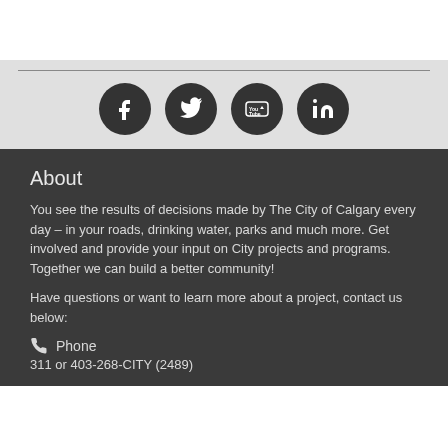[Figure (infographic): Social media icon buttons: Facebook, Twitter, YouTube, LinkedIn — dark circular icons on a light grey background with a horizontal rule above them]
About
You see the results of decisions made by The City of Calgary every day – in your roads, drinking water, parks and much more. Get involved and provide your input on City projects and programs. Together we can build a better community!
Have questions or want to learn more about a project, contact us below:
Phone
311 or 403-268-CITY (2489)